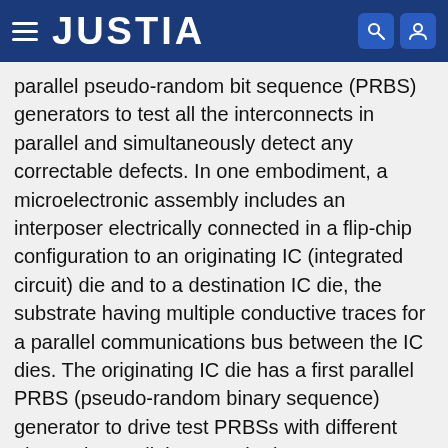JUSTIA
parallel pseudo-random bit sequence (PRBS) generators to test all the interconnects in parallel and simultaneously detect any correctable defects. In one embodiment, a microelectronic assembly includes an interposer electrically connected in a flip-chip configuration to an originating IC (integrated circuit) die and to a destination IC die, the substrate having multiple conductive traces for a parallel communications bus between the IC dies. The originating IC die has a first parallel PRBS (pseudo-random binary sequence) generator to drive test PRBSs with different phases in parallel across the interposer traces. The destination IC die has a second parallel PRBS generator to create reference PRBSs with different phases, and a bitwise comparator coupled to receive the test PRBSs from the interposer traces and to compare them to the reference PRBSs to provide concurrent fault monitoring for each